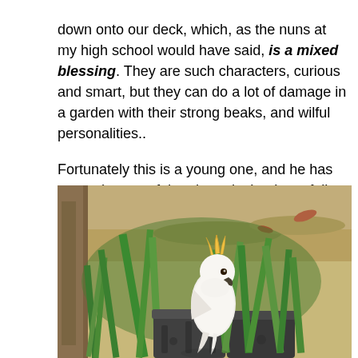down onto our deck, which, as the nuns at my high school would have said, is a mixed blessing. They are such characters, curious and smart, but they can do a lot of damage in a garden with their strong beaks, and wilful personalities..

Fortunately this is a young one, and he has spotted some of the almonds that have fallen from the tree.
[Figure (photo): A white cockatoo bird foraging among green plants and dark garden pots, with a sandy/dry garden background and tree trunk visible on the left.]